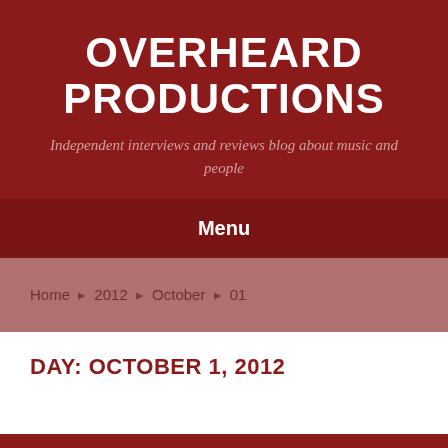OVERHEARD PRODUCTIONS
Independent interviews and reviews blog about music and people
Menu
Home > 2012 > October > 01
DAY: OCTOBER 1, 2012